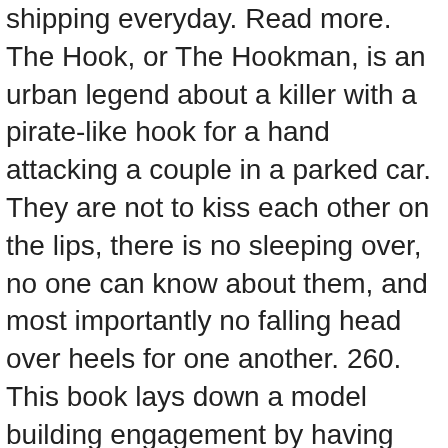shipping everyday. Read more. The Hook, or The Hookman, is an urban legend about a killer with a pirate-like hook for a hand attacking a couple in a parked car. They are not to kiss each other on the lips, there is no sleeping over, no one can know about them, and most importantly no falling head over heels for one another. 260. This book lays down a model building engagement by having users constantly return to your app. English 1505690900. Facebook. This is all of me. Use features like bookmarks, note taking and highlighting while reading The Hook Up (Game On Series Book 1). Want to Read. The Hook Up Tackle specializes in offering the world’s premier fishing tackle at great prices and with outstanding customer service. I enjoy reading about each member of the team and following them on their journey and I … Read this book using Google Play Books app on your PC, android, iOS devices. Anna Jones just wants to finish college and figure out her life. In the beginning this is prompted, but eventually it'll become instinct. I enjoy reading about each member of the team and following